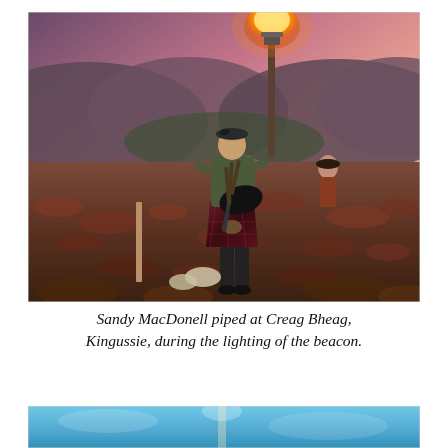[Figure (photo): A bagpiper in a kilt playing bagpipes on a heather-covered hillside at dusk, with a lit beacon/torch on a pole behind him and a scenic highland valley with purple-pink sunset sky in the background. Another person stands in the background.]
Sandy MacDonell piped at Creag Bheag, Kingussie, during the lighting of the beacon.
[Figure (photo): Partial view of a second photograph at the bottom of the page, showing what appears to be a blue sky and possibly a beacon or outdoor scene, cropped.]